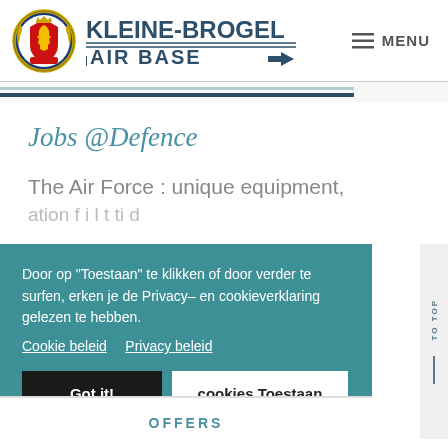[Figure (logo): Kleine-Brogel Air Base logo with military emblem and text]
≡ MENU
Jobs @Defence
The Air Force : unique equipment,
Door op "Toestaan" te klikken of door verder te surfen, erken je de Privacy– en cookieverklaring gelezen te hebben.
Cookie beleid    Privacy beleid
Got it!    cookies Toestaan
OFFERS